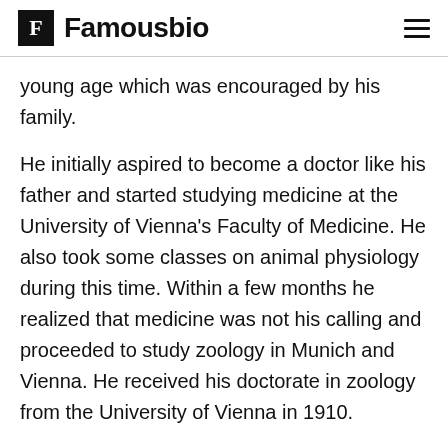Famousbio
young age which was encouraged by his family.
He initially aspired to become a doctor like his father and started studying medicine at the University of Vienna's Faculty of Medicine. He also took some classes on animal physiology during this time. Within a few months he realized that medicine was not his calling and proceeded to study zoology in Munich and Vienna. He received his doctorate in zoology from the University of Vienna in 1910.
Career